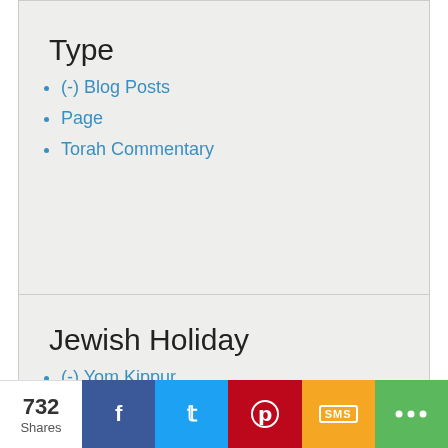Type
(-) Blog Posts
Page
Torah Commentary
Jewish Holiday
(-) Yom Kippur
Hanukkah
Purim
732 Shares | Facebook | Twitter | Pinterest | SMS | Share